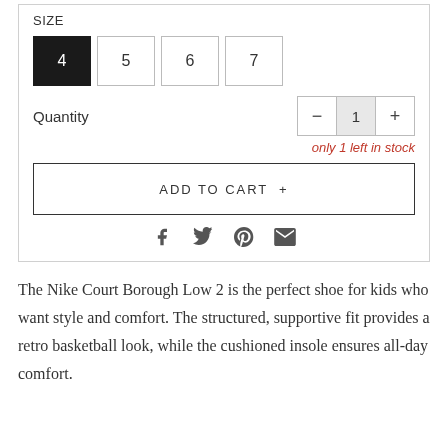SIZE
Size options: 4 (selected), 5, 6, 7
Quantity — control: minus, 1, plus
only 1 left in stock
ADD TO CART +
[Figure (infographic): Social sharing icons: Facebook, Twitter, Pinterest, Email]
The Nike Court Borough Low 2 is the perfect shoe for kids who want style and comfort. The structured, supportive fit provides a retro basketball look, while the cushioned insole ensures all-day comfort.